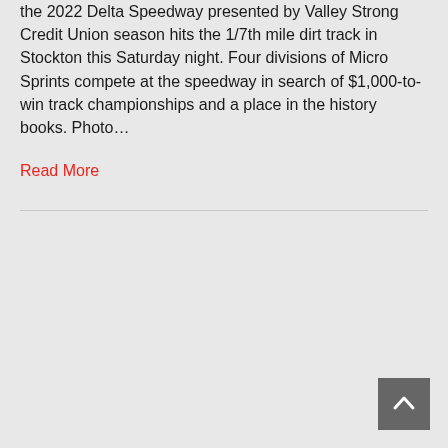the 2022 Delta Speedway presented by Valley Strong Credit Union season hits the 1/7th mile dirt track in Stockton this Saturday night. Four divisions of Micro Sprints compete at the speedway in search of $1,000-to-win track championships and a place in the history books. Photo…
Read More